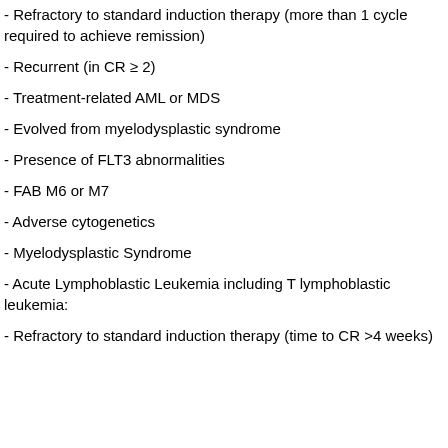- Refractory to standard induction therapy (more than 1 cycle required to achieve remission)
- Recurrent (in CR ≥ 2)
- Treatment-related AML or MDS
- Evolved from myelodysplastic syndrome
- Presence of FLT3 abnormalities
- FAB M6 or M7
- Adverse cytogenetics
- Myelodysplastic Syndrome
- Acute Lymphoblastic Leukemia including T lymphoblastic leukemia:
- Refractory to standard induction therapy (time to CR >4 weeks)